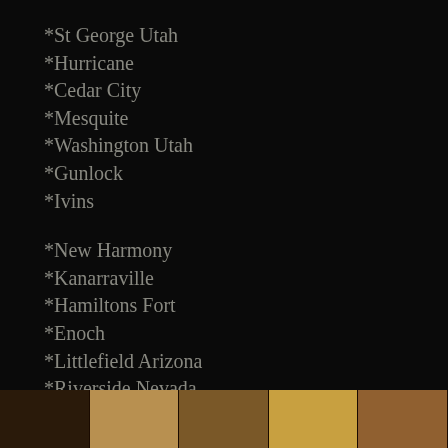*St George Utah
*Hurricane
*Cedar City
*Mesquite
*Washington Utah
*Gunlock
*Ivins
*New Harmony
*Kanarraville
*Hamiltons Fort
*Enoch
*Littlefield Arizona
*Riverside Nevada
*Bunkerville Nevada
[Figure (photo): Photo strip at the bottom showing warm-toned wooden or earthy textured images]